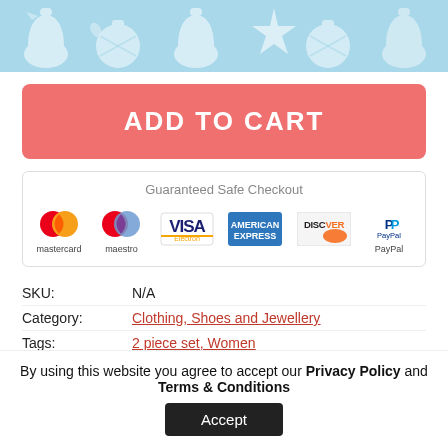[Figure (illustration): Christmas-themed banner with light blue background, white bell and ornament decorative pattern repeated across the top.]
ADD TO CART
[Figure (infographic): Guaranteed Safe Checkout section showing payment method logos: mastercard, maestro, VISA Electron, American Express, Discover, PayPal]
SKU: N/A
Category: Clothing, Shoes and Jewellery
Tags: 2 piece set, Women
By using this website you agree to accept our Privacy Policy and Terms & Conditions